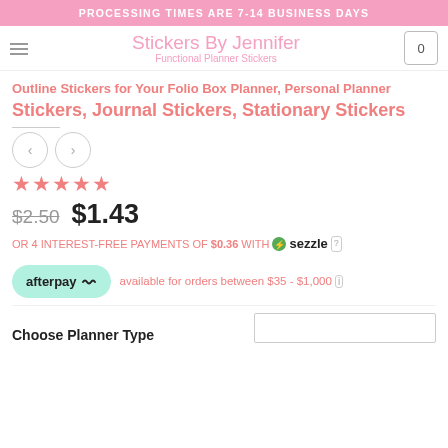PROCESSING TIMES ARE 7-14 BUSINESS DAYS
[Figure (logo): Stickers By Jennifer logo with subtitle Functional Planner Stickers, navigation hamburger menu and cart with 0 items]
Outline Stickers for Your Folio Box Planner, Personal Planner Stickers, Journal Stickers, Stationary Stickers
[Figure (other): Previous and next navigation arrow buttons]
[Figure (other): Star rating: 4 out of 5 stars]
$2.50  $1.43
OR 4 INTEREST-FREE PAYMENTS OF $0.36 WITH sezzle ?
[Figure (logo): Afterpay logo button with text: available for orders between $35 - $1,000 i]
Choose Planner Type